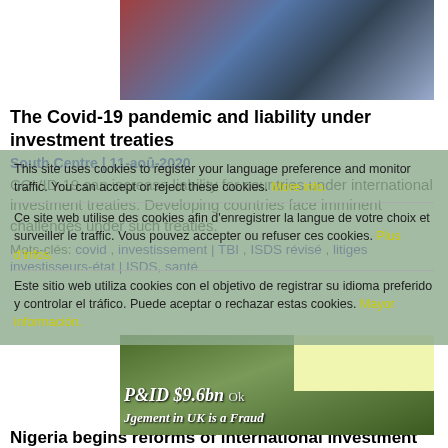[Figure (photo): People at a demonstration or gathering, wearing winter coats.]
The Covid-19 pandemic and liability under investment treaties
South Centre | 11-aoû-2020
COVID-19 can increase liability for countries under international investment treaties. Developing countries face imminent challenges under such treaties.
Mots-clés: covid , investissement | TBI , ISDS révisé , litiges investisseurs-état | ISDS, santé
This site uses cookies to register your language preference and monitor traffic. You can accept or reject these cookies. More info.
Ce site web utilise des cookies afin d'enregistrer la langue de votre choix et surveiller le traffic. Vous pouvez accepter ou refuser ces cookies. Plus d'infos.
Este sitio web utiliza cookies con el objetivo de registrar su idioma preferido y controlar el tráfico. Puede aceptar o rechazar estas cookies. Mayor información.
[Figure (photo): Protest photo with banner reading P&ID $9.6bn Judgment in UK is a Fraud, with OK button overlay.]
Nigeria begins reforms of international investment